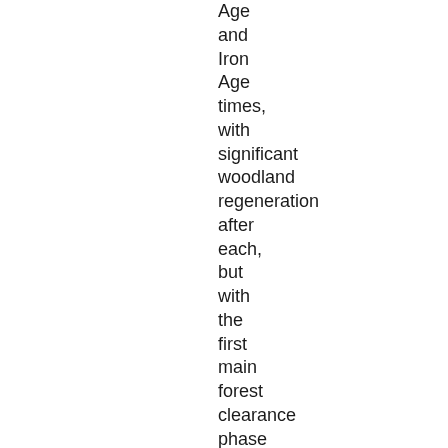Age and Iron Age times, with significant woodland regeneration after each, but with the first main forest clearance phase for agriculture occurring